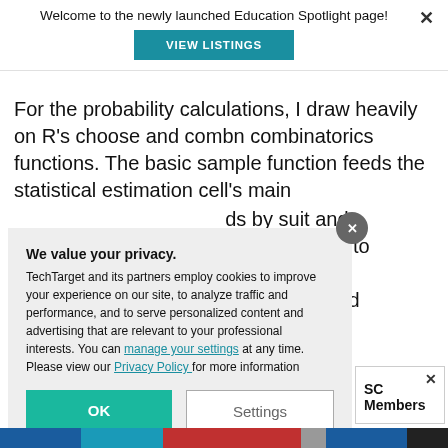Welcome to the newly launched Education Spotlight page!
VIEW LISTINGS
For the probability calculations, I draw heavily on R’s choose and combn combinatorics functions. The basic sample function feeds the statistical estimation cell’s main ... ds by suit and ... ge are central to ... ok is very ... hours from end
We value your privacy.
TechTarget and its partners employ cookies to improve your experience on our site, to analyze traffic and performance, and to serve personalized content and advertising that are relevant to your professional interests. You can manage your settings at any time. Please view our Privacy Policy for more information
OK
Settings
SC Members